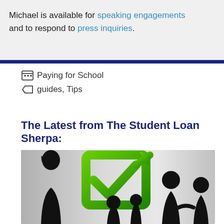Michael is available for speaking engagements and to respond to press inquiries.
Paying for School
guides, Tips
The Latest from The Student Loan Sherpa:
[Figure (photo): Silhouettes of people in front of a large green checkmark/arrow graphic on a grey background]